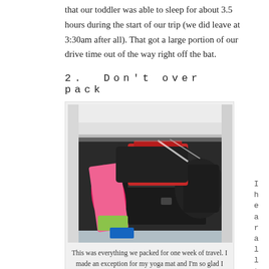that our toddler was able to sleep for about 3.5 hours during the start of our trip (we did leave at 3:30am after all). That got a large portion of our drive time out of the way right off the bat.
2.  Don't over pack
[Figure (photo): A car trunk packed full of luggage including suitcases, bags, a pink yoga mat, and various other travel items.]
This was everything we packed for one week of travel. I made an exception for my yoga mat and I'm so glad I did. I used it almost everyday (there are some things you just have to make an exception for!)
I hear all the time that "whe n